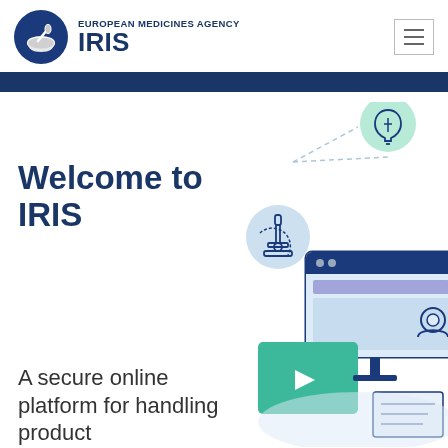[Figure (logo): European Medicines Agency IRIS logo — blue circle with mortar and pestle icon, followed by 'EUROPEAN MEDICINES AGENCY' in small caps and 'IRIS' in large bold dark blue text]
[Figure (illustration): Decorative infographic illustration showing a computer monitor with a video player (teal play button), a lightbulb icon in a teal circle, a microscope icon in a light blue circle, a user/person icon, and dashed connector lines — representing the IRIS online platform]
Welcome to IRIS
A secure online platform for handling product